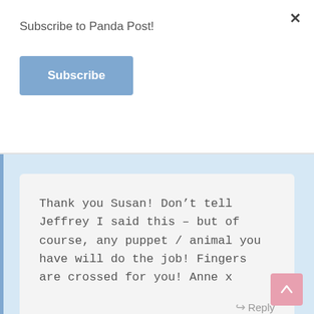Subscribe to Panda Post!
Subscribe
Thank you Susan! Don’t tell Jeffrey I said this – but of course, any puppet / animal you have will do the job! Fingers are crossed for you! Anne x
Reply
Susan Wilson
December 15, 2014 at 5:28 pm
Permalink